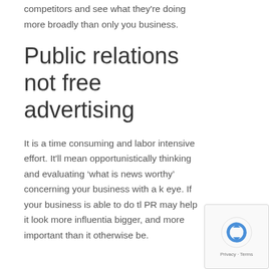competitors and see what they're doing more broadly than only you business.
Public relations not free advertising
It is a time consuming and labor intensive effort. It'll mean opportunistically thinking and evaluating ‘what is news worthy’ concerning your business with a k eye. If your business is able to do tl PR may help it look more influentia bigger, and more important than it otherwise be.